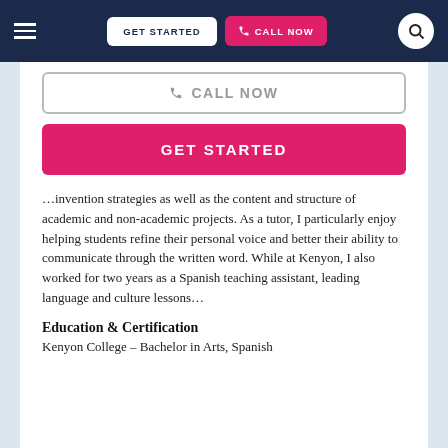[Figure (screenshot): Navigation bar with hamburger menu, GET STARTED button (white), CALL NOW button (pink/red), and search circle icon on dark navy background]
CALL NOW (button, partially visible)
GET STARTED (button)
…invention strategies as well as the content and structure of academic and non-academic projects. As a tutor, I particularly enjoy helping students refine their personal voice and better their ability to communicate through the written word. While at Kenyon, I also worked for two years as a Spanish teaching assistant, leading language and culture lessons…
Education & Certification
Kenyon College – Bachelor in Arts, Spanish